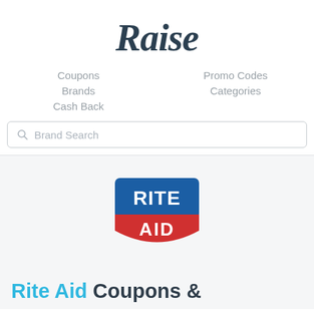[Figure (logo): Raise logo - stylized cursive 'Raise' text in dark teal/navy color]
Coupons
Promo Codes
Brands
Categories
Cash Back
Brand Search
[Figure (logo): Rite Aid logo - shield shape with blue top section reading RITE and red bottom section reading AID in white bold text]
Rite Aid Coupons &